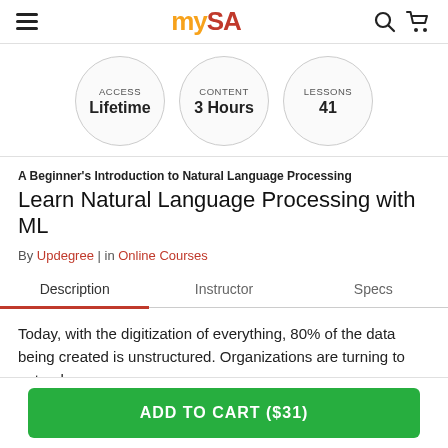mySA — hamburger menu, search, and cart icons
[Figure (infographic): Three circles showing course metadata: ACCESS Lifetime | CONTENT 3 Hours | LESSONS 41]
A Beginner's Introduction to Natural Language Processing
Learn Natural Language Processing with ML
By Updegree | in Online Courses
Description  Instructor  Specs  (tab bar, Description selected)
Today, with the digitization of everything, 80% of the data being created is unstructured. Organizations are turning to natural
ADD TO CART ($31)